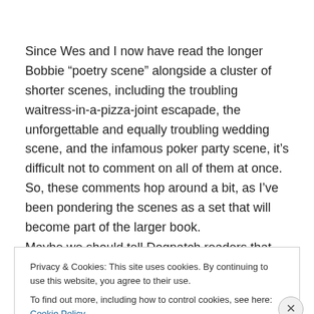Since Wes and I now have read the longer Bobbie “poetry scene” alongside a cluster of shorter scenes, including the troubling waitress-in-a-pizza-joint escapade, the unforgettable and equally troubling wedding scene, and the infamous poker party scene, it’s difficult not to comment on all of them at once. So, these comments hop around a bit, as I’ve been pondering the scenes as a set that will become part of the larger book.
Maybe we should tell Dogpatch readers that Desire is
Privacy & Cookies: This site uses cookies. By continuing to use this website, you agree to their use.
To find out more, including how to control cookies, see here: Cookie Policy